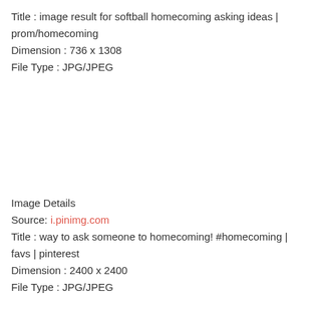Title : image result for softball homecoming asking ideas | prom/homecoming
Dimension : 736 x 1308
File Type : JPG/JPEG
Image Details
Source: i.pinimg.com
Title : way to ask someone to homecoming! #homecoming | favs | pinterest
Dimension : 2400 x 2400
File Type : JPG/JPEG